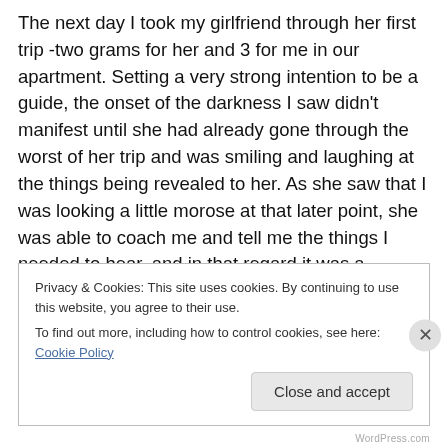The next day I took my girlfriend through her first trip -two grams for her and 3 for me in our apartment. Setting a very strong intention to be a guide, the onset of the darkness I saw didn't manifest until she had already gone through the worst of her trip and was smiling and laughing at the things being revealed to her. As she saw that I was looking a little morose at that later point, she was able to coach me and tell me the things I needed to hear, and in that regard it was a beautifully synergistic experience. But prior to me tripping I was able to help her find balance with breathing exercises and humming that same primordial
Privacy & Cookies: This site uses cookies. By continuing to use this website, you agree to their use.
To find out more, including how to control cookies, see here: Cookie Policy
Close and accept